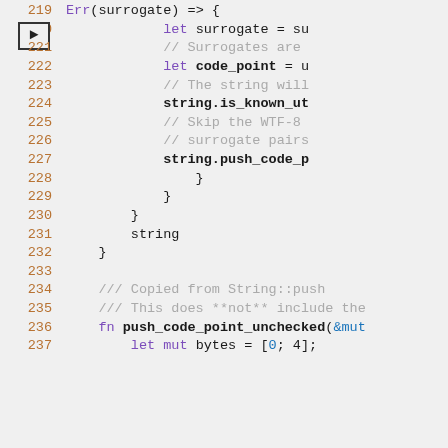[Figure (screenshot): Source code editor screenshot showing Rust code lines 219–237. Line 220 has an arrow/breakpoint indicator. Code shows surrogate handling logic with comments and function definitions.]